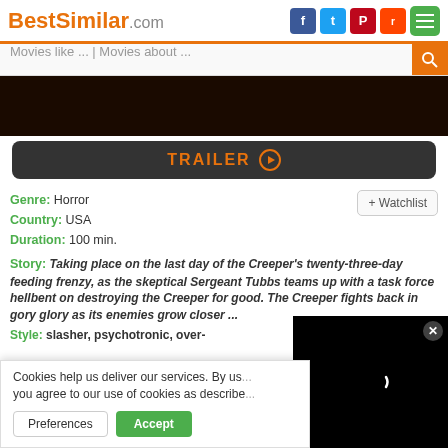BestSimilar.com
Movies like ... | Movies about ...
[Figure (photo): Dark movie still image background]
TRAILER ▶
Genre: Horror
Country: USA
Duration: 100 min.
+ Watchlist
Story: Taking place on the last day of the Creeper's twenty-three-day feeding frenzy, as the skeptical Sergeant Tubbs teams up with a task force hellbent on destroying the Creeper for good. The Creeper fights back in gory glory as its enemies grow closer ...
Style: slasher, psychotronic, over-...
Cookies help us deliver our services. By us... you agree to our use of cookies as describe...
Preferences  Accept